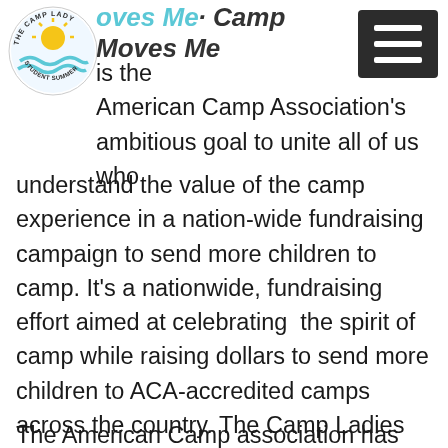Camp Moves Me : Camp Moves Me is the American Camp Association's ambitious goal to unite all of us who understand the value of the camp experience in a nation-wide fundraising campaign to send more children to camp. It's a nationwide, fundraising effort aimed at celebrating the spirit of camp while raising dollars to send more children to ACA-accredited camps across the country. The Camp Ladies truly believe camp benefits kids, if we have a chance to help just 1 child experience it we want to get involved.

The American Camp association has
[Figure (logo): The Camp Lady circular logo with sun and water imagery]
Camp Moves Me : Camp Moves Me is the American Camp Association's ambitious goal to unite all of us who understand the value of the camp experience in a nation-wide fundraising campaign to send more children to camp. It's a nationwide, fundraising effort aimed at celebrating the spirit of camp while raising dollars to send more children to ACA-accredited camps across the country. The Camp Ladies truly believe camp benefits kids, if we have a chance to help just 1 child experience it we want to get involved.
The American Camp association has